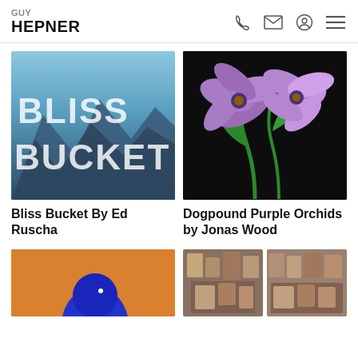GUY HEPNER
[Figure (photo): Bliss Bucket by Ed Ruscha — mountainous landscape with large white block text reading BLISS BUCKET overlaid]
[Figure (illustration): Dogpound Purple Orchids by Jonas Wood — colorful illustration of purple orchid flowers on black background]
Bliss Bucket By Ed Ruscha
Dogpound Purple Orchids by Jonas Wood
[Figure (photo): Artwork on orange background with blue shape — partial view]
[Figure (photo): Collage artwork — partial view, left portion]
[Figure (photo): Collage artwork — partial view, right portion]